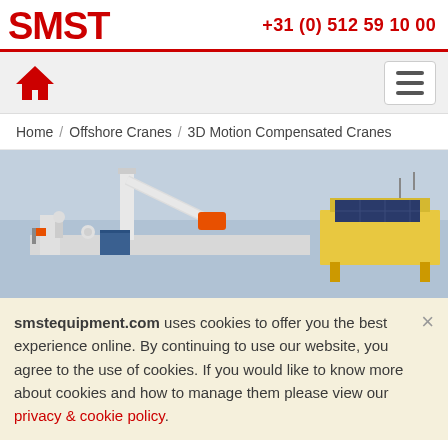SMST +31 (0) 512 59 10 00
[Figure (logo): SMST company logo in red text with red horizontal rule]
[Figure (infographic): Navigation bar with red house home icon on left and hamburger menu button on right]
Home / Offshore Cranes / 3D Motion Compensated Cranes
[Figure (photo): Offshore crane mounted on a vessel with orange arm extended over grey sea water, and an offshore platform with solar panels visible on the right]
smstequipment.com uses cookies to offer you the best experience online. By continuing to use our website, you agree to the use of cookies. If you would like to know more about cookies and how to manage them please view our privacy & cookie policy.